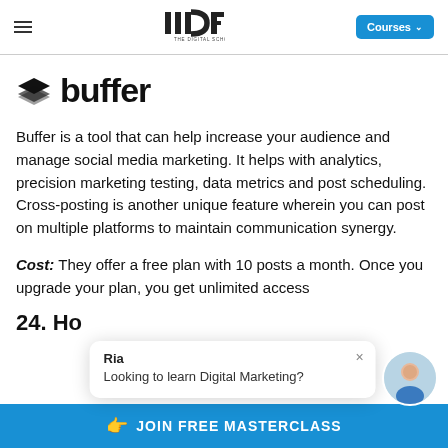IIDE THE DIGITAL SCHOOL — Courses
buffer
Buffer is a tool that can help increase your audience and manage social media marketing. It helps with analytics, precision marketing testing, data metrics and post scheduling. Cross-posting is another unique feature wherein you can post on multiple platforms to maintain communication synergy.
Cost: They offer a free plan with 10 posts a month. Once you upgrade your plan, you get unlimited access.
24. Ho
Ria
Looking to learn Digital Marketing?
JOIN FREE MASTERCLASS